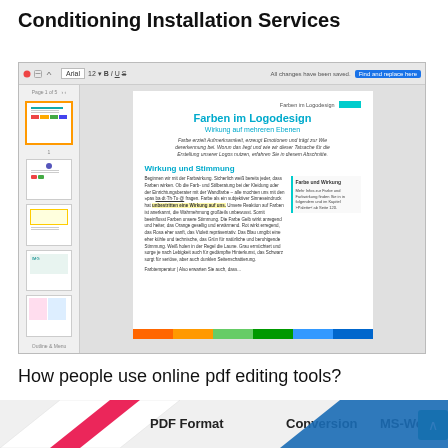Conditioning Installation Services
[Figure (screenshot): Screenshot of an online PDF editor showing a German document titled 'Farben im Logodesign - Wirkung auf mehreren Ebenen' with sidebar page thumbnails, toolbar, and right-side tabs.]
How people use online pdf editing tools?
[Figure (infographic): Bottom infographic with tabs labeled PDF Format, Conversion, MS-Word and a teal button with up arrow, plus decorative diagonal shapes in white and red/blue.]